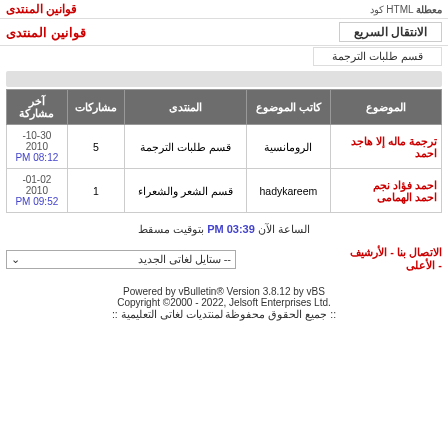كود HTML معطلة
قوانين المنتدى
الانتقال السريع
قسم طلبات الترجمة
| الموضوع | كاتب الموضوع | المنتدى | مشاركات | آخر مشاركة |
| --- | --- | --- | --- | --- |
| ترجمة ماله إلا هاجد احمد | الرومانسية | قسم طلبات الترجمة | 5 | 10-30-2010 PM 08:12 |
| احمد فؤاد نجم احمد الهمامى | hadykareem | قسم الشعر والشعراء | 1 | 01-02-2010 PM 09:52 |
الساعة الآن PM 03:39 بتوقيت مسقط
الاتصال بنا - الأرشيف - الأعلى
-- ستايل لغاتى الجديد
Powered by vBulletin® Version 3.8.12 by vBS Copyright ©2000 - 2022, Jelsoft Enterprises Ltd :: جميع الحقوق محفوظة لمنتديات لغاتى التعليمية ::